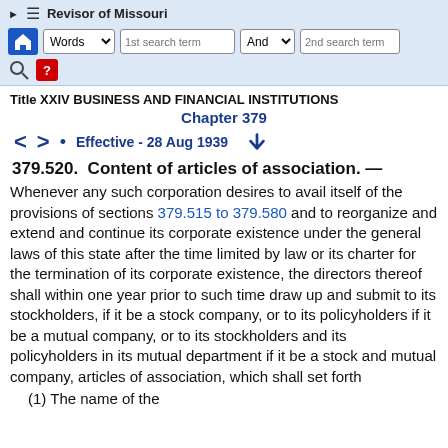Revisor of Missouri
Title XXIV BUSINESS AND FINANCIAL INSTITUTIONS
Chapter 379
Effective - 28 Aug 1939
379.520. Content of articles of association. —
Whenever any such corporation desires to avail itself of the provisions of sections 379.515 to 379.580 and to reorganize and extend and continue its corporate existence under the general laws of this state after the time limited by law or its charter for the termination of its corporate existence, the directors thereof shall within one year prior to such time draw up and submit to its stockholders, if it be a stock company, or to its policyholders if it be a mutual company, or to its stockholders and its policyholders in its mutual department if it be a stock and mutual company, articles of association, which shall set forth
(1) The name of the...